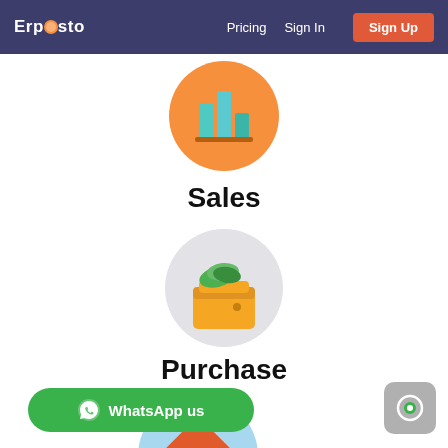Erpesto | Pricing | Sign In | Sign Up
[Figure (illustration): Orange circle icon with colorful bar chart/books icon representing Sales module]
Sales
[Figure (illustration): Light gray circle icon with orange wallet and green money bills representing Purchase module]
Purchase
[Figure (illustration): Light blue circle icon with house/building icon representing another module, partially visible at bottom]
WhatsApp us
[Figure (illustration): Gray rounded rectangle chat button at bottom right]